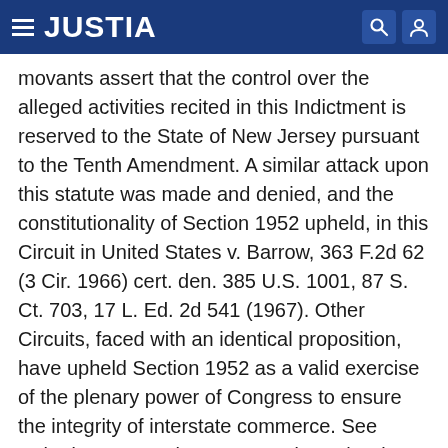JUSTIA
movants assert that the control over the alleged activities recited in this Indictment is reserved to the State of New Jersey pursuant to the Tenth Amendment. A similar attack upon this statute was made and denied, and the constitutionality of Section 1952 upheld, in this Circuit in United States v. Barrow, 363 F.2d 62 (3 Cir. 1966) cert. den. 385 U.S. 1001, 87 S. Ct. 703, 17 L. Ed. 2d 541 (1967). Other Circuits, faced with an identical proposition, have upheld Section 1952 as a valid exercise of the plenary power of Congress to ensure the integrity of interstate commerce. See United States v. Zizzo, 338 F.2d 577 (7 Cir. 1964) cert. den. 381 U.S. 915, 85 S. Ct. 1530, 14 L. Ed. 2d 435 (1965); Turf Center, Inc. v. United States, 325 F.2d 793 (9 Cir. 1963) and Bass v. United States, 324 F.2d 168 (8 Cir. 1963). Additionally as the Court, in the Marshall case, supra, 355 F.2d at p. 1004, in distinguishing Linder v. United States, 268 U.S. 5,